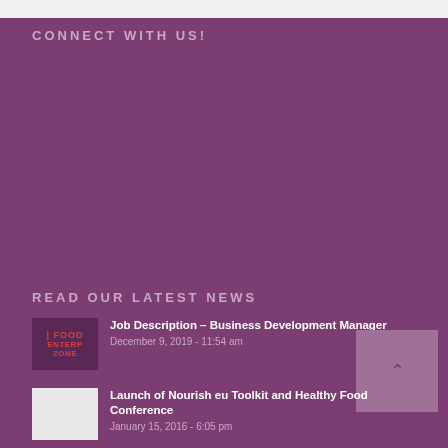CONNECT WITH US!
READ OUR LATEST NEWS
[Figure (other): Thumbnail logo for Food Enterprise Zone with red text on dark background]
Job Description – Business Development Manager
December 9, 2019 - 11:54 am
[Figure (other): White/blank thumbnail image for second news item]
Launch of Nourish eu Toolkit and Healthy Food Conference
January 15, 2016 - 6:05 pm